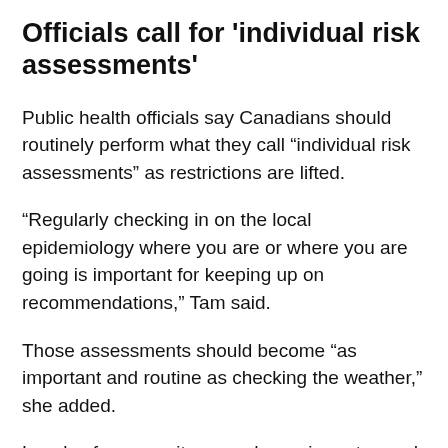Officials call for 'individual risk assessments'
Public health officials say Canadians should routinely perform what they call “individual risk assessments” as restrictions are lifted.
“Regularly checking in on the local epidemiology where you are or where you are going is important for keeping up on recommendations,” Tam said.
Those assessments should become “as important and routine as checking the weather,” she added.
Levels of community spread, vaccine rates and a person’s age and health are among the factors to be